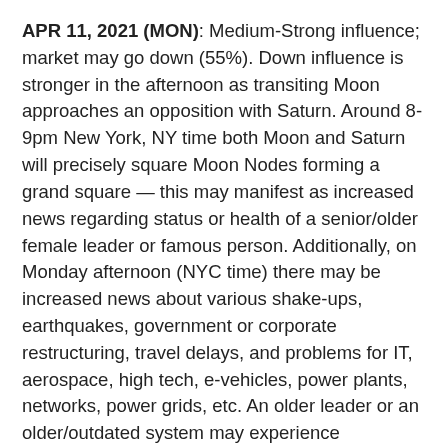APR 11, 2021 (MON): Medium-Strong influence; market may go down (55%). Down influence is stronger in the afternoon as transiting Moon approaches an opposition with Saturn. Around 8-9pm New York, NY time both Moon and Saturn will precisely square Moon Nodes forming a grand square — this may manifest as increased news regarding status or health of a senior/older female leader or famous person. Additionally, on Monday afternoon (NYC time) there may be increased news about various shake-ups, earthquakes, government or corporate restructuring, travel delays, and problems for IT, aerospace, high tech, e-vehicles, power plants, networks, power grids, etc. An older leader or an older/outdated system may experience problems, outages, or a breakdown.